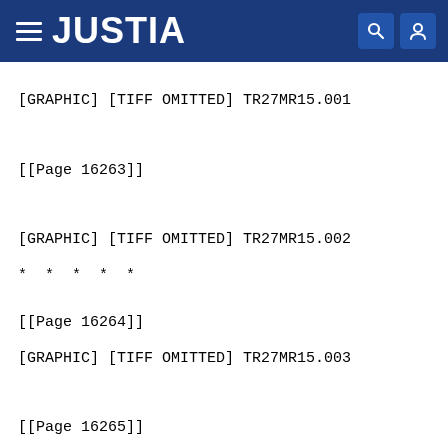JUSTIA
[GRAPHIC] [TIFF OMITTED] TR27MR15.001
[[Page 16263]]
[GRAPHIC] [TIFF OMITTED] TR27MR15.002
* * * * *
[[Page 16264]]
[GRAPHIC] [TIFF OMITTED] TR27MR15.003
[[Page 16265]]